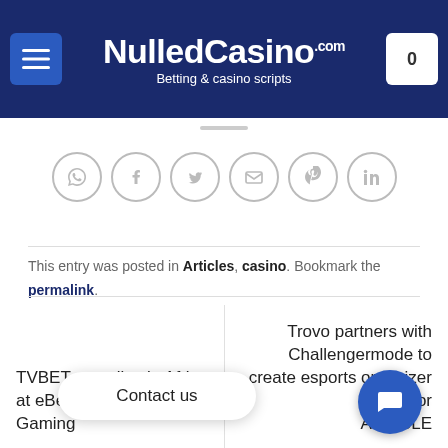NulledCasino.com — Betting & casino scripts
[Figure (other): Social share icons row: WhatsApp, Facebook, Twitter, Email, Pinterest, LinkedIn — all circular outlined icons]
This entry was posted in Articles, casino. Bookmark the permalink.
TVBET goes live in Africa at eBet through Bitville Gaming
Trovo partners with Challengermode to create esports organizer fund for ARTICLE
Contact us